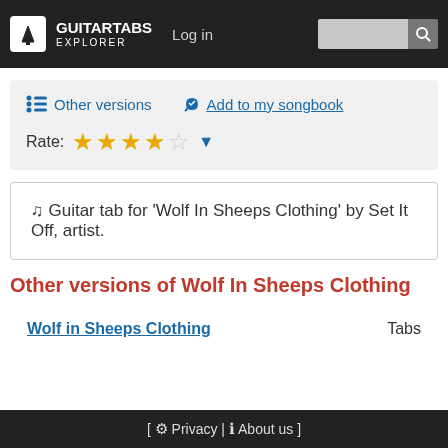GUITARTABS EXPLORER | Log in | Search
Other versions | Add to my songbook | Rate: ★★★★☆
🎵 Guitar tab for 'Wolf In Sheeps Clothing' by Set It Off, artist.
Other versions of Wolf In Sheeps Clothing
|  |  |
| --- | --- |
| Wolf in Sheeps Clothing | Tabs |
[ Privacy | About us ]